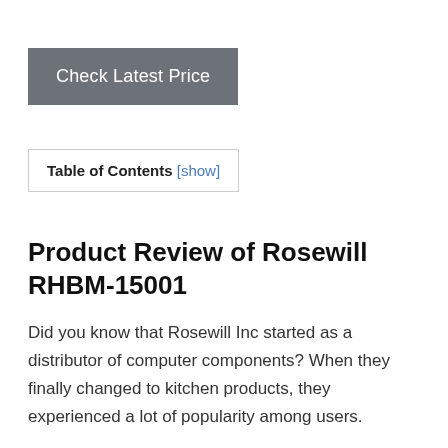[Figure (other): Gray button with white text reading 'Check Latest Price']
Table of Contents [show]
Product Review of Rosewill RHBM-15001
Did you know that Rosewill Inc started as a distributor of computer components? When they finally changed to kitchen products, they experienced a lot of popularity among users.
The reason why this happened is because they